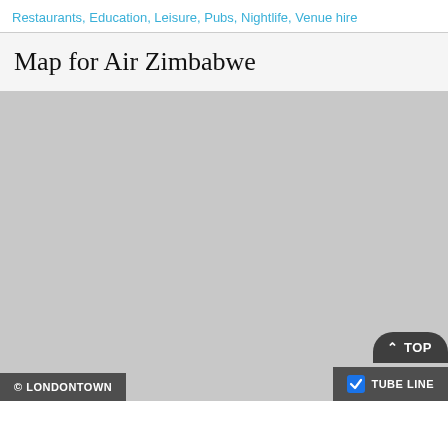Restaurants, Education, Leisure, Pubs, Nightlife, Venue hire
Map for Air Zimbabwe
[Figure (map): A grey placeholder map area for Air Zimbabwe location, with overlay controls: '© LONDONTOWN' bottom-left, '^ TOP' button bottom-right above, and a 'TUBE LINE' toggle with blue checkbox bottom-right.]